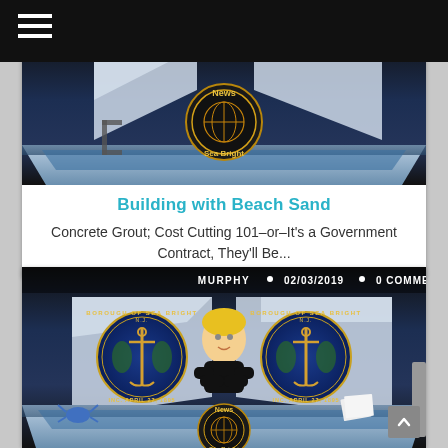Navigation menu
[Figure (screenshot): Animated news broadcast scene with 'News Sea Bright' logo on a stylized blue desk background]
Building with Beach Sand
Concrete Grout; Cost Cutting 101–or–It's a Government Contract, They'll Be...
[Figure (screenshot): Animated news broadcast scene with MURPHY reporter, Borough of Sea Bright NJ seals on either side, 02/03/2019, 0 COMMENTS, News Sea Bright logo on desk]
MURPHY • 02/03/2019 • 0 COMMENTS